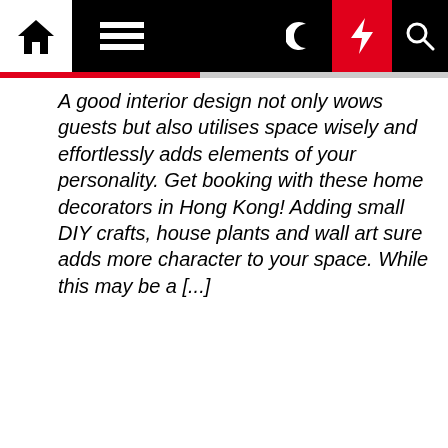Navigation bar with home, menu, moon, lightning, and search icons
A good interior design not only wows guests but also utilises space wisely and effortlessly adds elements of your personality. Get booking with these home decorators in Hong Kong! Adding small DIY crafts, house plants and wall art sure adds more character to your space. While this may be a [...]
[Figure (photo): Partial view of an interior design image, showing a grey/silver overhead view with diagonal lines and a dark circular object]